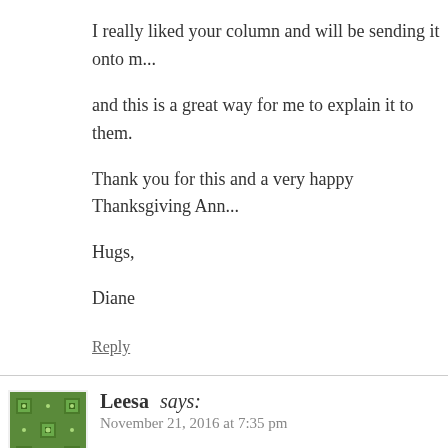I really liked your column and will be sending it onto m... and this is a great way for me to explain it to them. Thank you for this and a very happy Thanksgiving Ann... Hugs, Diane
Reply
Leesa says: November 21, 2016 at 7:35 pm
Thank you so much for so eloquently expressing what I... just happened and I feel this dark ominous cloud cover... togetherness with family seem especially sweet and im... country's future but I'm trying to hold on to what I hav...
Reply
Cynthia says: